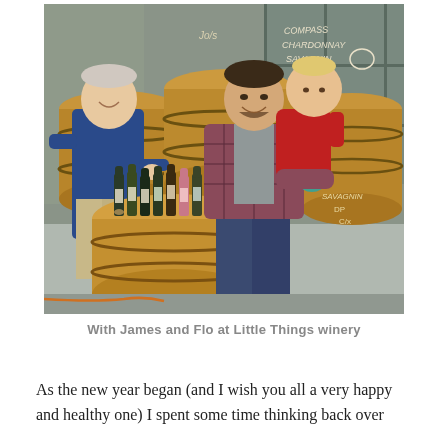[Figure (photo): Two men and a baby standing in front of wine barrels with several wine bottles displayed on a barrel. One man is older in a blue sweater, the other younger in a plaid shirt holding a toddler in a red outfit. Wine barrels are labeled with chalk writing including 'Jols', 'Compass Chardonnay Savagnin', and 'Savagnin DP'. Wine bottles are arranged on the barrel in front.]
With James and Flo at Little Things winery
As the new year began (and I wish you all a very happy and healthy one) I spent some time thinking back over